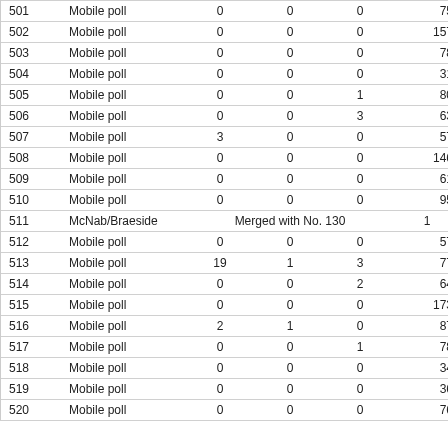| 501 | Mobile poll | 0 | 0 | 0 | 75 |
| 502 | Mobile poll | 0 | 0 | 0 | 157 |
| 503 | Mobile poll | 0 | 0 | 0 | 78 |
| 504 | Mobile poll | 0 | 0 | 0 | 31 |
| 505 | Mobile poll | 0 | 0 | 1 | 80 |
| 506 | Mobile poll | 0 | 0 | 3 | 63 |
| 507 | Mobile poll | 3 | 0 | 0 | 57 |
| 508 | Mobile poll | 0 | 0 | 0 | 146 |
| 509 | Mobile poll | 0 | 0 | 0 | 61 |
| 510 | Mobile poll | 0 | 0 | 0 | 95 |
| 511 | McNab/Braeside | Merged with No. 130 |  |  | 1 |
| 512 | Mobile poll | 0 | 0 | 0 | 57 |
| 513 | Mobile poll | 19 | 1 | 3 | 77 |
| 514 | Mobile poll | 0 | 0 | 2 | 64 |
| 515 | Mobile poll | 0 | 0 | 0 | 173 |
| 516 | Mobile poll | 2 | 1 | 0 | 87 |
| 517 | Mobile poll | 0 | 0 | 1 | 78 |
| 518 | Mobile poll | 0 | 0 | 0 | 34 |
| 519 | Mobile poll | 0 | 0 | 0 | 36 |
| 520 | Mobile poll | 0 | 0 | 0 | 76 |